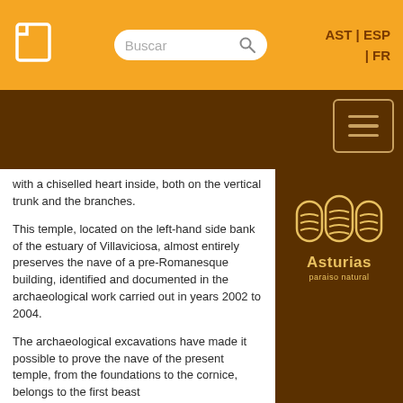[Figure (screenshot): Orange navigation bar with a white outlined logo icon on the left, a rounded search bar in the center with 'Buscar' placeholder text and search icon, and language links AST | ESP | FR on the right]
[Figure (screenshot): Dark brown sub-navigation bar with a hamburger menu button (three horizontal lines) in a rounded rectangle on the right side]
[Figure (logo): Asturias paraiso natural logo: three stylized bread loaf shapes in outline on dark brown background with text 'Asturias' and 'paraiso natural' in gold/yellow]
with a chiselled heart inside, both on the vertical trunk and the branches.
This temple, located on the left-hand side bank of the estuary of Villaviciosa, almost entirely preserves the nave of a pre-Romanesque building, identified and documented in the archaeological work carried out in years 2002 to 2004.
The archaeological excavations have made it possible to prove the nave of the present temple, from the foundations to the cornice, belongs to the first beast